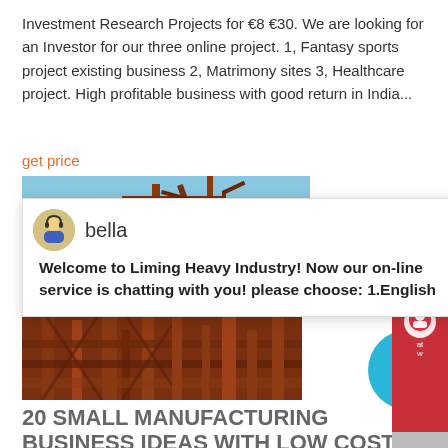Investment Research Projects for €8 €30. We are looking for an Investor for our three online project. 1, Fantasy sports project existing business 2, Matrimony sites 3, Healthcare project. High profitable business with good return in India...
get price
[Figure (photo): Industrial machinery/crane against blue sky - top portion]
[Figure (other): Chat popup with bella avatar: Welcome to Liming Heavy Industry! Now our on-line service is chatting with you! please choose: 1.English]
[Figure (photo): Industrial heavy machinery (orange/rust colored) - lower portion]
20 SMALL MANUFACTURING BUSINESS IDEAS WITH LOW COST
8/25/2019· Small manufacturing business can be started at home or at a small rental premise. The cost of machinery or equipment's required for starting small manufacturing business is